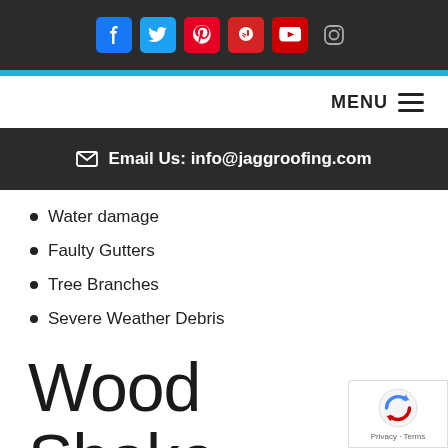[Figure (screenshot): Top navigation bar with social media icons: Facebook, Twitter, Pinterest, Yelp, YouTube, Instagram on dark background]
MENU ☰
✉ Email Us: info@jaggroofing.com
Water damage
Faulty Gutters
Tree Branches
Severe Weather Debris
Wood Shake Roofing Contractors in